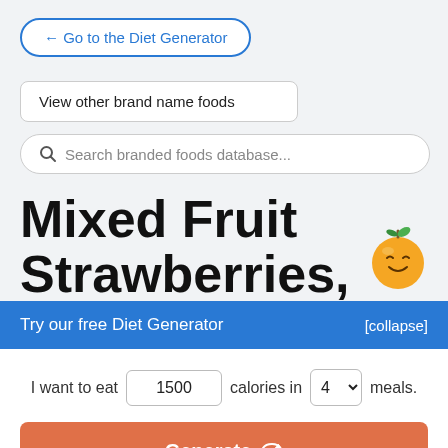← Go to the Diet Generator
View other brand name foods
Search branded foods database...
Mixed Fruit Strawberries,
[Figure (illustration): Orange cartoon fruit mascot character with a smiling face, leaves on top]
Try our free Diet Generator
[collapse]
I want to eat 1500 calories in 4 meals.
Generate